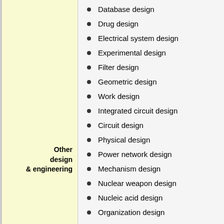Other design & engineering
Database design
Drug design
Electrical system design
Experimental design
Filter design
Geometric design
Work design
Integrated circuit design
Circuit design
Physical design
Power network design
Mechanism design
Nuclear weapon design
Nucleic acid design
Organization design
Process design
Processor design
Protein design